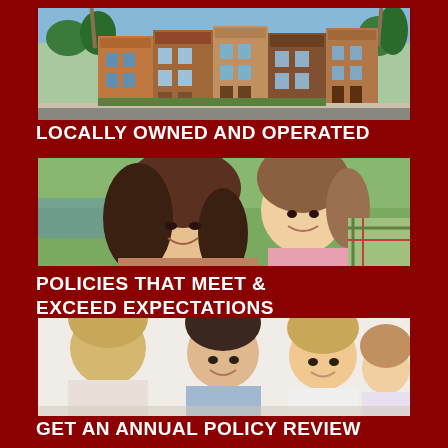[Figure (photo): Photo of townhomes/condominiums along a street with palm trees and colorful facades]
LOCALLY OWNED AND OPERATED
[Figure (photo): Photo of a smiling mother and young daughter outdoors near a lake]
POLICIES THAT MEET & EXCEED EXPECTATIONS
[Figure (photo): Photo of a family (man, woman, young girl) meeting with an insurance agent (blonde woman, back to camera)]
GET AN ANNUAL POLICY REVIEW